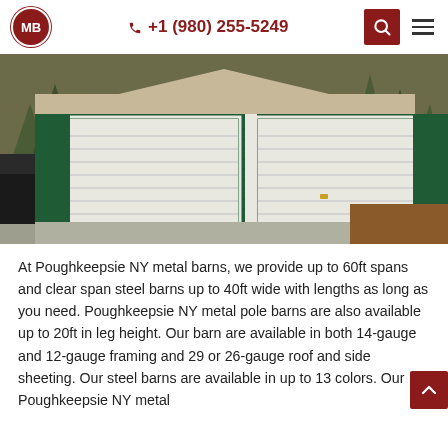CMB logo | +1 (980) 255-5249 | search | menu
[Figure (photo): Green metal barn/garage building with two white roll-up garage doors, set in a wooded area with autumn leaves on the ground. A dark truck is visible on the left side.]
At Poughkeepsie NY metal barns, we provide up to 60ft spans and clear span steel barns up to 40ft wide with lengths as long as you need. Poughkeepsie NY metal pole barns are also available up to 20ft in leg height. Our barn are available in both 14-gauge and 12-gauge framing and 29 or 26-gauge roof and side sheeting. Our steel barns are available in up to 13 colors. Our Poughkeepsie NY metal